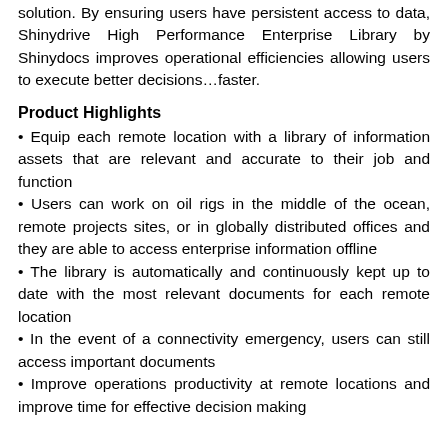solution. By ensuring users have persistent access to data, Shinydrive High Performance Enterprise Library by Shinydocs improves operational efficiencies allowing users to execute better decisions…faster.
Product Highlights
• Equip each remote location with a library of information assets that are relevant and accurate to their job and function
• Users can work on oil rigs in the middle of the ocean, remote projects sites, or in globally distributed offices and they are able to access enterprise information offline
• The library is automatically and continuously kept up to date with the most relevant documents for each remote location
• In the event of a connectivity emergency, users can still access important documents
• Improve operations productivity at remote locations and improve time for effective decision making